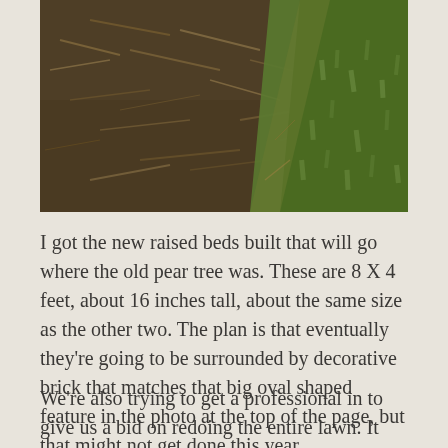[Figure (photo): Outdoor garden photo showing dark soil/mulch on the left side and green grass on the right side, taken from above at a slight angle.]
I got the new raised beds built that will go where the old pear tree was. These are 8 X 4 feet, about 16 inches tall, about the same size as the other two. The plan is that eventually they're going to be surrounded by decorative brick that matches that big oval shaped feature in the photo at the top of the page, but that might not get done this year.
We're also trying to get a professional in to give us a bid on redoing the entire lawn. It isn't so much that the grass is really bad, which it is, it's